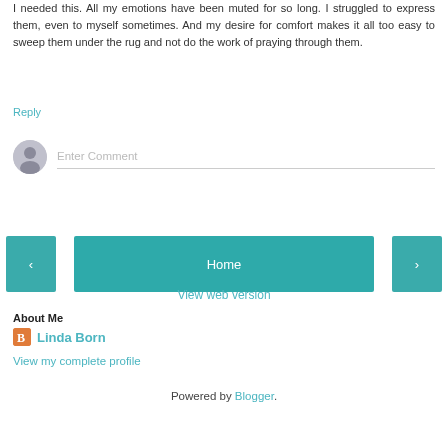I needed this. All my emotions have been muted for so long. I struggled to express them, even to myself sometimes. And my desire for comfort makes it all too easy to sweep them under the rug and not do the work of praying through them.
Reply
Enter Comment
Home
View web version
About Me
Linda Born
View my complete profile
Powered by Blogger.